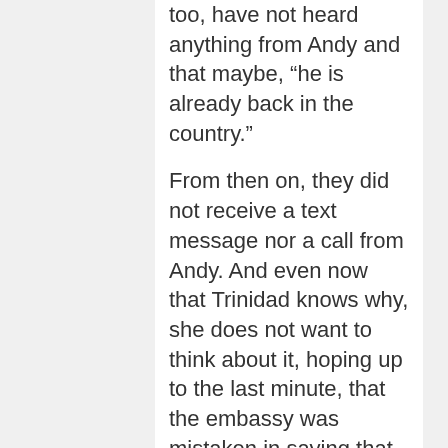too, have not heard anything from Andy and that maybe, “he is already back in the country.”
From then on, they did not receive a text message nor a call from Andy. And even now that Trinidad knows why, she does not want to think about it, hoping up to the last minute, that the embassy was mistaken in saying that Andy is dead.
Mysterious circumstances